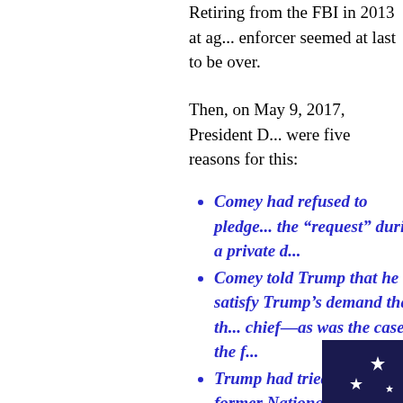Retiring from the FBI in 2013 at ag... enforcer seemed at last to be over.
Then, on May 9, 2017, President D... were five reasons for this:
Comey had refused to pledge... the “request” during a private d...
Comey told Trump that he w... satisfy Trump’s demand that th... chief—as was the case in the f...
Trump had tried to coerce C... former National Security Advis... Turkey. Comey had similarly re...
Comey had recently asked th... investigation into well-docume... campaign and Russian Intellige...
The goal of that collaboration:... of Russian President Vladimir P...
[Figure (photo): Dark blue background with white stars, bottom-right corner of page, partial American flag or similar patriotic imagery]